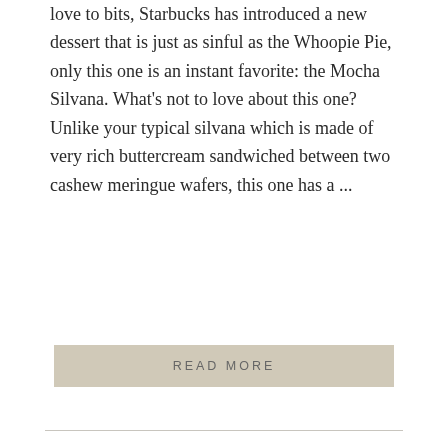love to bits, Starbucks has introduced a new dessert that is just as sinful as the Whoopie Pie, only this one is an instant favorite: the Mocha Silvana. What’s not to love about this one?  Unlike your typical silvana which is made of very rich buttercream sandwiched between two cashew meringue wafers, this one has a ...
READ MORE
Cooking Custard
06.21.2012 by LEAH //
To make classic custard that’s perfect for dessert, I prepared the following ingredients: 3 egg yolks 1 egg ¼ cup sugar ¼ teaspoon vanilla 1 cup evaporated milk (I used this